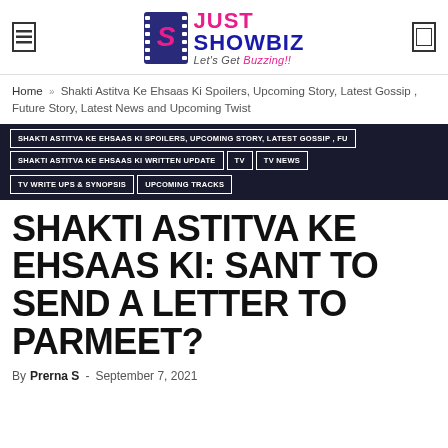JUST SHOWBIZ — Let's Get Buzzing!!
Home » Shakti Astitva Ke Ehsaas Ki Spoilers, Upcoming Story, Latest Gossip , Future Story, Latest News and Upcoming Twist
SHAKTI ASTITVA KE EHSAAS KI SPOILERS, UPCOMING STORY, LATEST GOSSIP , FU... | SHAKTI ASTITVA KE EHSAAS KI WRITTEN UPDATE | TV | TV NEWS | TV WRITE UPS & SYNOPSIS | UPCOMING TRACKS
SHAKTI ASTITVA KE EHSAAS KI: SANT TO SEND A LETTER TO PARMEET?
By Prerna S - September 7, 2021